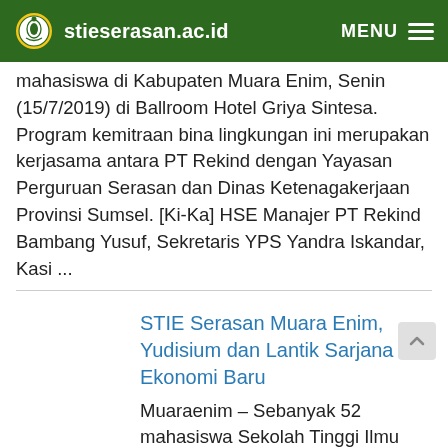stieserasan.ac.id  MENU
mahasiswa di Kabupaten Muara Enim, Senin (15/7/2019) di Ballroom Hotel Griya Sintesa. Program kemitraan bina lingkungan ini merupakan kerjasama antara PT Rekind dengan Yayasan Perguruan Serasan dan Dinas Ketenagakerjaan Provinsi Sumsel. [Ki-Ka] HSE Manajer PT Rekind Bambang Yusuf, Sekretaris YPS Yandra Iskandar, Kasi ...
STIE Serasan Muara Enim, Yudisium dan Lantik Sarjana Ekonomi Baru
Muaraenim – Sebanyak 52 mahasiswa Sekolah Tinggi Ilmu